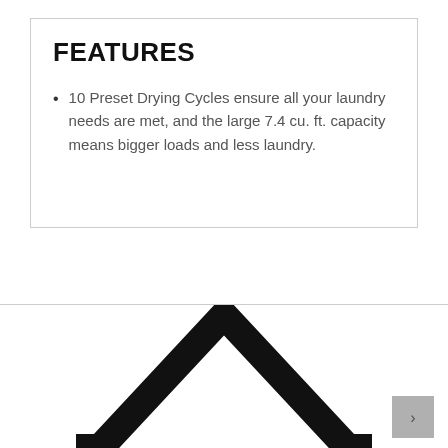FEATURES
10 Preset Drying Cycles ensure all your laundry needs are met, and the large 7.4 cu. ft. capacity means bigger loads and less laundry.
[Figure (illustration): Black and white line drawing of a house/home icon, showing the roof outline with a large chevron/triangle shape in thick black lines, partially cropped at the bottom of the page.]